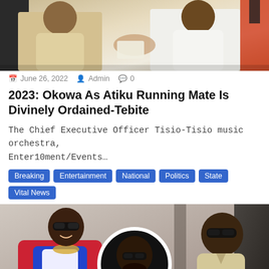[Figure (photo): Two men in suits shaking hands, one in cream/beige suit, one in white suit, with a flag in background]
June 26, 2022  Admin  0
2023: Okowa As Atiku Running Mate Is Divinely Ordained-Tebite
The Chief Executive Officer Tisio-Tisio music orchestra, Enter10ment/Events…
Breaking
Entertainment
National
Politics
State
Vital News
[Figure (photo): Three people composite photo: young man with sunglasses and chain on left, man with glasses in suit in circular center inset, older man with sunglasses on right]